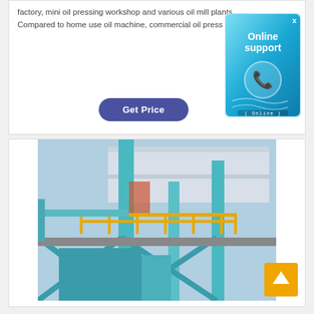factory, mini oil pressing workshop and various oil mill plants. Compared to home use oil machine, commercial oil press ...
[Figure (other): Online support widget with phone icon and 'Online support' text in blue gradient box with (Online) label]
[Figure (photo): Industrial oil mill plant machinery - large teal/turquoise colored industrial structure with yellow railings and scaffolding inside a warehouse]
[Figure (other): Orange back-to-top arrow button]
Get Price